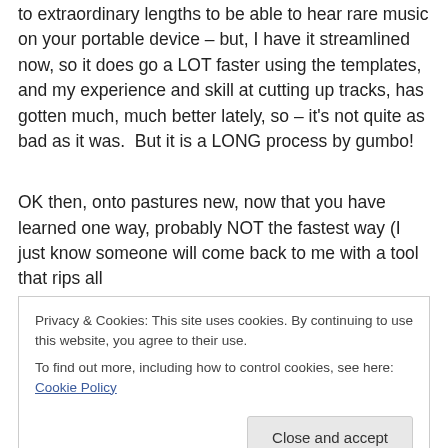to extraordinary lengths to be able to hear rare music on your portable device – but, I have it streamlined now, so it does go a LOT faster using the templates, and my experience and skill at cutting up tracks, has gotten much, much better lately, so – it's not quite as bad as it was.  But it is a LONG process by gumbo!
OK then, onto pastures new, now that you have learned one way, probably NOT the fastest way (I just know someone will come back to me with a tool that rips all
Privacy & Cookies: This site uses cookies. By continuing to use this website, you agree to their use.
To find out more, including how to control cookies, see here: Cookie Policy
best possible, super high quality WAV file – for the lover of